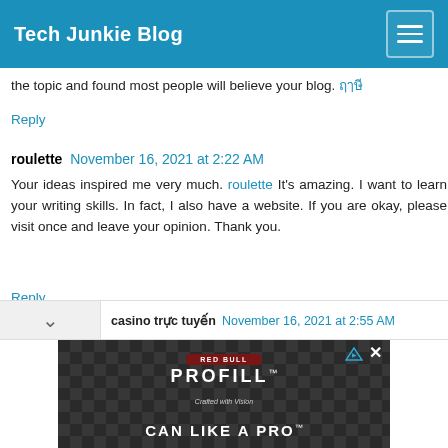Tech Junkie Blog
the topic and found most people will believe your blog.
Reply
roulette  November 16, 2021 at 2:22 AM
Your ideas inspired me very much. roulette It's amazing. I want to learn your writing skills. In fact, I also have a website. If you are okay, please visit once and leave your opinion. Thank you.
Reply
casino trực tuyến  November 16, 2021 at 2:55 AM
[Figure (photo): Advertisement banner: PROFILL - CAN LIKE A PRO with metal can lids background]